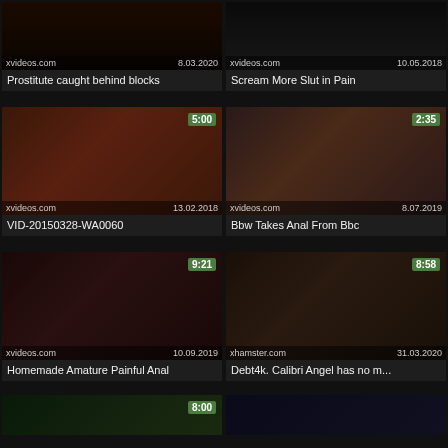[Figure (screenshot): Video thumbnail grid showing adult video website listings with titles, dates, durations, and thumbnail images]
Prostitute caught behind blocks
Scream More Slut in Pain
VID-20150328-WA0060
Bbw Takes Anal From Bbc
Homemade Amature Painful Anal
Debt4k. Calibri Angel has no m...